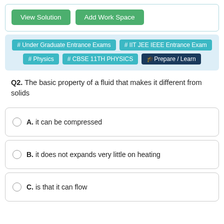[Figure (screenshot): Two green buttons: 'View Solution' and 'Add Work Space']
# Under Graduate Entrance Exams
# IIT JEE IEEE Entrance Exam
# Physics
# CBSE 11TH PHYSICS
Prepare / Learn
Q2. The basic property of a fluid that makes it different from solids
A. it can be compressed
B. it does not expands very little on heating
C. is that it can flow